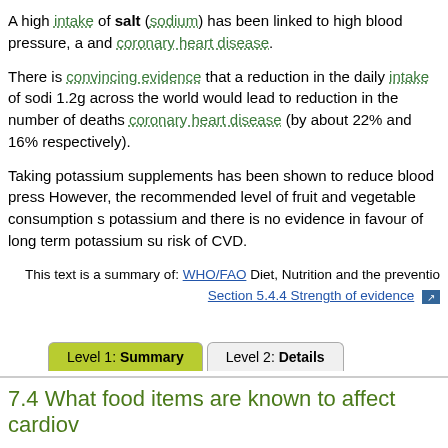A high intake of salt (sodium) has been linked to high blood pressure, a and coronary heart disease.
There is convincing evidence that a reduction in the daily intake of sodi 1.2g across the world would lead to reduction in the number of deaths coronary heart disease (by about 22% and 16% respectively).
Taking potassium supplements has been shown to reduce blood press However, the recommended level of fruit and vegetable consumption s potassium and there is no evidence in favour of long term potassium su risk of CVD.
This text is a summary of: WHO/FAO Diet, Nutrition and the preventio Section 5.4.4 Strength of evidence
Level 1: Summary    Level 2: Details
7.4 What food items are known to affect cardiov
Consumption of fruits and vegetables has been widely associated wit studies show a protective effect against coronary heart disease, stroke
Fish consumption also reduces the risk of coronary heart disease. Th